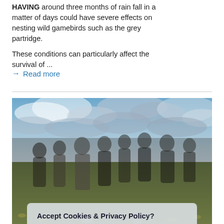HAVING around three months of rain fall in a matter of days could have severe effects on nesting wild gamebirds such as the grey partridge.
These conditions can particularly affect the survival of ...
→ Read more
[Figure (photo): Outdoor photo of a group of people standing in a field with wildflowers, with a partly cloudy sky in the background. A cookie consent overlay dialog partially covers the image.]
Accept Cookies & Privacy Policy?
We use cookies to improve our site. Please read our privacy policy.
[Accept Cookies button]